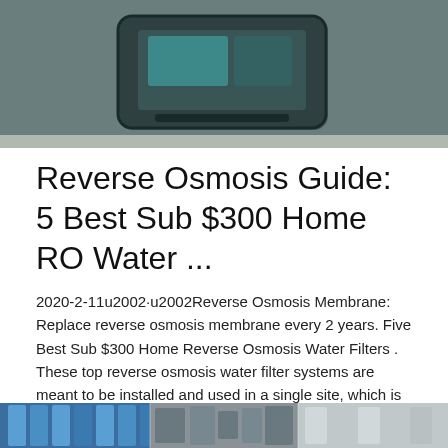[Figure (photo): Top portion of a product/device, appears to be a water filtration or electronic device, shown in dark teal/green color against a gray background]
Reverse Osmosis Guide: 5 Best Sub $300 Home RO Water ...
2020-2-11u2002·u2002Reverse Osmosis Membrane: Replace reverse osmosis membrane every 2 years. Five Best Sub $300 Home Reverse Osmosis Water Filters . These top reverse osmosis water filter systems are meant to be installed and used in a single site, which is under the kitchen sink.
[Figure (photo): Bottom strip showing partial images of water filter products — blue filter columns, gray mechanical components, and lighter colored filter units]